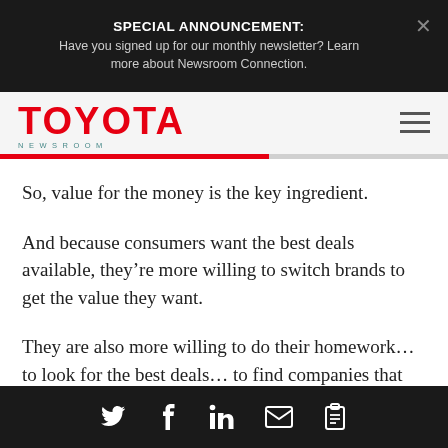SPECIAL ANNOUNCEMENT: Have you signed up for our monthly newsletter? Learn more about Newsroom Connection.
[Figure (logo): Toyota Newsroom logo with red TOYOTA text and teal NEWSROOM subtext]
So, value for the money is the key ingredient.
And because consumers want the best deals available, they’re more willing to switch brands to get the value they want.
They are also more willing to do their homework… to look for the best deals… to find companies that they
Social share icons: Twitter, Facebook, LinkedIn, Email, Copy link